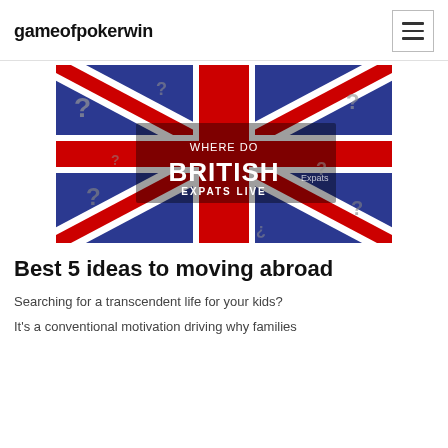gameofpokerwin
[Figure (photo): Union Jack (UK flag) with question marks overlaid and white bold text reading 'WHERE DO BRITISH EXPATS LIVE']
Best 5 ideas to moving abroad
Searching for a transcendent life for your kids?
It's a conventional motivation driving why families